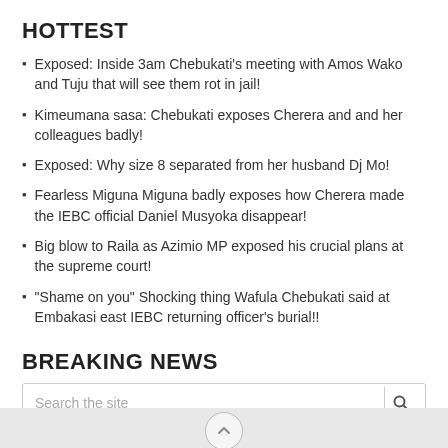HOTTEST
Exposed: Inside 3am Chebukati's meeting with Amos Wako and Tuju that will see them rot in jail!
Kimeumana sasa: Chebukati exposes Cherera and and her colleagues badly!
Exposed: Why size 8 separated from her husband Dj Mo!
Fearless Miguna Miguna badly exposes how Cherera made the IEBC official Daniel Musyoka disappear!
Big blow to Raila as Azimio MP exposed his crucial plans at the supreme court!
“Shame on you” Shocking thing Wafula Chebukati said at Embakasi east IEBC returning officer’s burial!!
BREAKING NEWS
Search the site